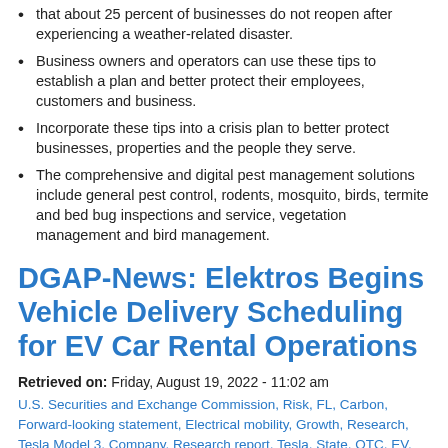that about 25 percent of businesses do not reopen after experiencing a weather-related disaster.
Business owners and operators can use these tips to establish a plan and better protect their employees, customers and business.
Incorporate these tips into a crisis plan to better protect businesses, properties and the people they serve.
The comprehensive and digital pest management solutions include general pest control, rodents, mosquito, birds, termite and bed bug inspections and service, vegetation management and bird management.
DGAP-News: Elektros Begins Vehicle Delivery Scheduling for EV Car Rental Operations
Retrieved on: Friday, August 19, 2022 - 11:02 am
U.S. Securities and Exchange Commission, Risk, FL, Carbon, Forward-looking statement, Electrical mobility, Growth, Research, Tesla Model 3, Company, Research report, Tesla, State, OTC, EV, ZAP (motor company), Weather, Time, Taxicab, Renewable energy